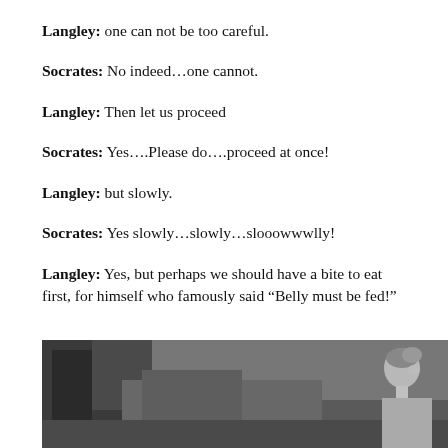Langley: one can not be too careful.
Socrates: No indeed…one cannot.
Langley: Then let us proceed
Socrates: Yes….Please do….proceed at once!
Langley: but slowly.
Socrates: Yes slowly…slowly…slooowwwlly!
Langley: Yes, but perhaps we should have a bite to eat first, for himself who famously said “Belly must be fed!”
[Figure (photo): Black and white photograph showing an outdoor scene with trees on the left and a person visible on the right side in profile.]